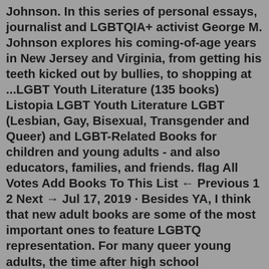Johnson. In this series of personal essays, journalist and LGBTQIA+ activist George M. Johnson explores his coming-of-age years in New Jersey and Virginia, from getting his teeth kicked out by bullies, to shopping at ...LGBT Youth Literature (135 books) Listopia LGBT Youth Literature LGBT (Lesbian, Gay, Bisexual, Transgender and Queer) and LGBT-Related Books for children and young adults - and also educators, families, and friends. flag All Votes Add Books To This List ← Previous 1 2 Next → Jul 17, 2019 · Besides YA, I think that new adult books are some of the most important ones to feature LGBTQ representation. For many queer young adults, the time after high school graduation—whether they leave home for college or other opportunities—is a period of self-exploration and coming to terms with their sexual orientation or gender identity. Jul 16, 2017 · A great story of magic, screwing up, as well as discovering your LGBT identity. 5. Of Fire and Stars, by Audrey Coulthurst. This one is a personal favorite